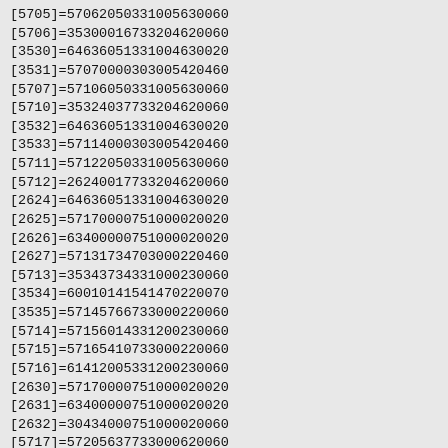[5705]=57062050331005630060
[5706]=35300016733204620060
[3530]=64636051331004630020
[3531]=57070000303005420460
[5707]=57106050331005630060
[5710]=35324037733204620060
[3532]=64636051331004630020
[3533]=57114000303005420460
[5711]=57122050331005630060
[5712]=26240017733204620060
[2624]=64636051331004630020
[2625]=57170000751000020020
[2626]=63400000751000020020
[2627]=57131734703000220460
[5713]=35343734331000230060
[3534]=60010141541470220070
[3535]=57145766733000220060
[5714]=57156014331200230060
[5715]=57165410733000220060
[5716]=61412005331200230060
[2630]=57170000751000020020
[2631]=63400000751000020020
[2632]=30434000751000020060
[5717]=57205637733000620060
[5720]=35361631733000220060
[3536]=35504144541400220060
[3537]=35404000751000020060
[3540]=35410000313400420250
[3541]=35421632733000220060
[3542]=35520144541400220060